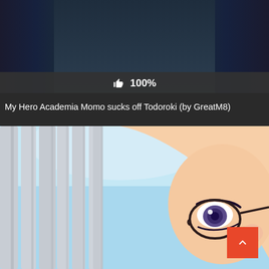[Figure (screenshot): Top portion of a webpage showing a dark background with curtain-like elements visible at the top]
👍 100%
My Hero Academia Momo sucks off Todoroki (by GreatM8)
[Figure (illustration): Anime illustration of a female character with long silver/gray hair and glasses, close-up of face and eye, light blue background]